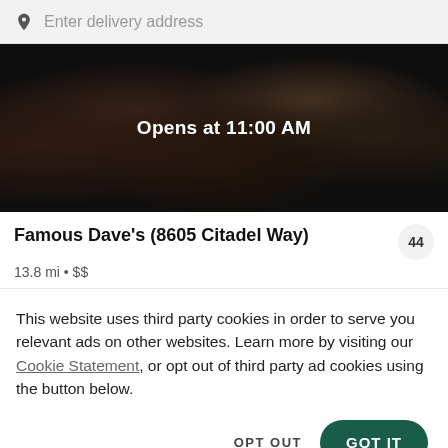Enter delivery address
[Figure (photo): Restaurant hero image showing food dishes with a dark overlay and 'Opens at 11:00 AM' text centered]
Opens at 11:00 AM
Famous Dave's (8605 Citadel Way)
44
13.8 mi • $$
This website uses third party cookies in order to serve you relevant ads on other websites. Learn more by visiting our Cookie Statement, or opt out of third party ad cookies using the button below.
OPT OUT
GOT IT